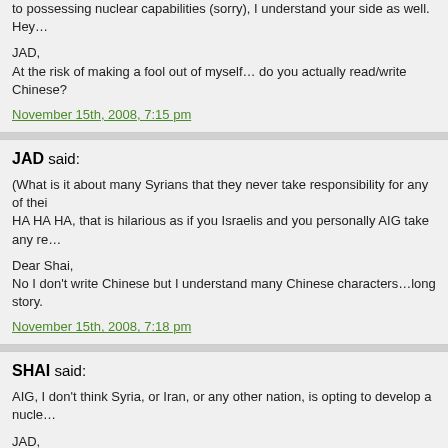for possessing nuclear capabilities (sorry), I understand your side as well. Hey…
JAD,
At the risk of making a fool out of myself… do you actually read/write Chinese?
November 15th, 2008, 7:15 pm
JAD said:
(What is it about many Syrians that they never take responsibility for any of thei… HA HA HA, that is hilarious as if you Israelis and you personally AIG take any re…
Dear Shai,
No I don't write Chinese but I understand many Chinese characters…long story.
November 15th, 2008, 7:18 pm
SHAI said:
AIG, I don't think Syria, or Iran, or any other nation, is opting to develop a nucle…
JAD,
Alright, I won't ask. As long as you can tell me where the toilet is in the shuttle…
November 15th, 2008, 7:24 pm
ALEX_NO said:
Re the type of Uranium, the leak from possibly interested diplomats, not the IAE… or depleted.
November 15th, 2008, 7:29 pm